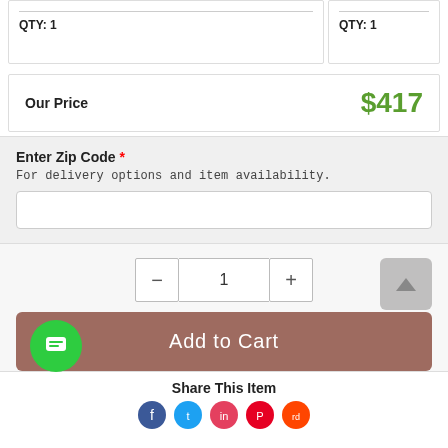QTY: 1
QTY: 1
Our Price   $417
Enter Zip Code *
For delivery options and item availability.
1
Add to Cart
Share This Item